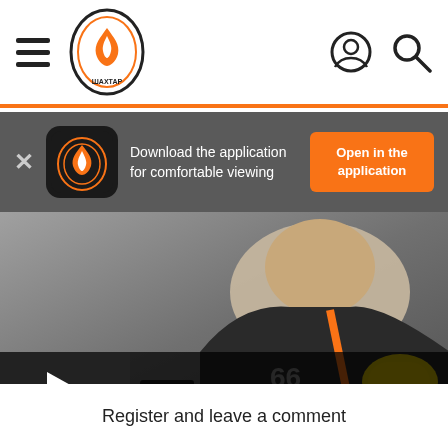Shakhtar website header with hamburger menu, logo, user icon, and search icon
Download the application for comfortable viewing
Open in the application
[Figure (photo): Video thumbnail showing a footballer in a dark jacket with orange details being interviewed, holding a yellow microphone, with video controls showing 03:55 timestamp and play button]
Register and leave a comment